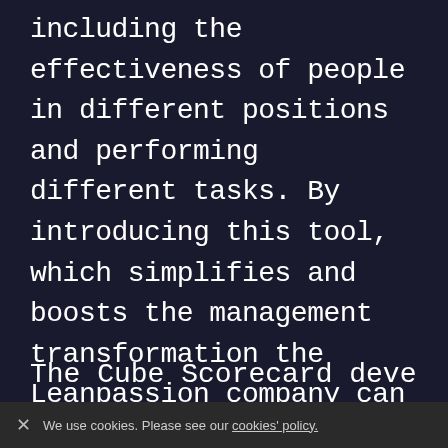including the effectiveness of people in different positions and performing different tasks. By introducing this tool, which simplifies and boosts the management transformation the Leanpassion company can offer their clients through management analysis and improvement of their financial condition.
The Cube Scorecard developed...
✕  We use cookies. Please see our cookies' policy.